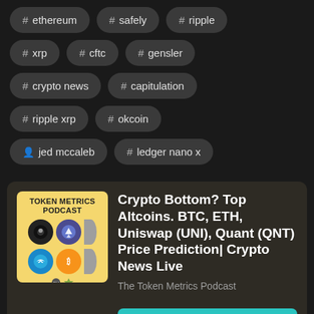# ethereum
# safely
# ripple
# xrp
# cftc
# gensler
# crypto news
# capitulation
# ripple xrp
# okcoin
jed mccaleb
# ledger nano x
[Figure (screenshot): Token Metrics Podcast thumbnail showing crypto logos including Bitcoin, Ethereum, and Telegram]
Crypto Bottom? Top Altcoins. BTC, ETH, Uniswap (UNI), Quant (QNT) Price Prediction| Crypto News Live
The Token Metrics Podcast